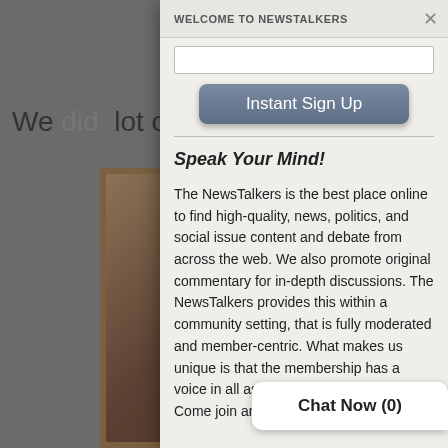[Figure (screenshot): Background of a webpage showing partial text 'We did a lot of th...ouring together.' with a framed decorative image on the right side]
[Figure (screenshot): Modal dialog overlay on a website. Contains a header bar, a text input field, an 'Instant Sign Up' button, a horizontal divider, italic bold heading 'Speak Your Mind!', and descriptive paragraph text about NewsTalkers platform.]
Chat Now (0)